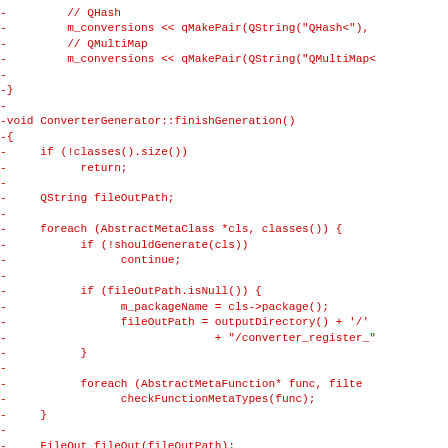Diff code listing showing removed lines (in red) of C++ source code for ConverterGenerator::finishGeneration() and related functions